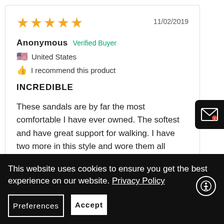★★★★★   11/02/2019
Anonymous  Verified Buyer
🇺🇸 United States
👍 I recommend this product
INCREDIBLE
These sandals are by far the most comfortable I have ever owned. The softest and have great support for walking. I have two more in this style and wore them all summer ! Great service from Spring Step shoes !
This website uses cookies to ensure you get the best experience on our website. Privacy Policy
Preferences
Accept